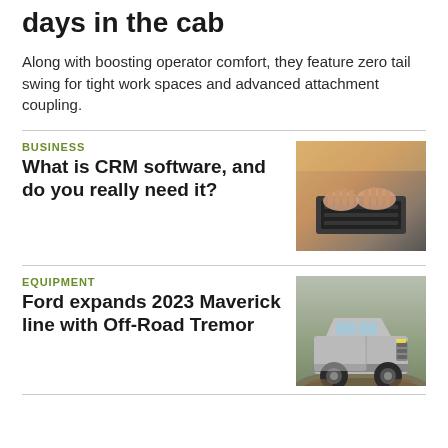days in the cab
Along with boosting operator comfort, they feature zero tail swing for tight work spaces and advanced attachment coupling.
BUSINESS
What is CRM software, and do you really need it?
[Figure (photo): Hands typing on a laptop keyboard, warm lighting]
EQUIPMENT
Ford expands 2023 Maverick line with Off-Road Tremor
[Figure (photo): Ford Maverick truck driving off-road on muddy terrain]